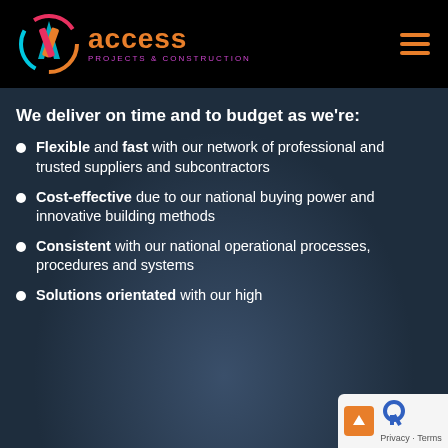[Figure (logo): Access Projects & Construction logo with circular multicolor icon and orange text on black header bar]
We deliver on time and to budget as we're:
Flexible and fast with our network of professional and trusted suppliers and subcontractors
Cost-effective due to our national buying power and innovative building methods
Consistent with our national operational processes, procedures and systems
Solutions orientated with our high